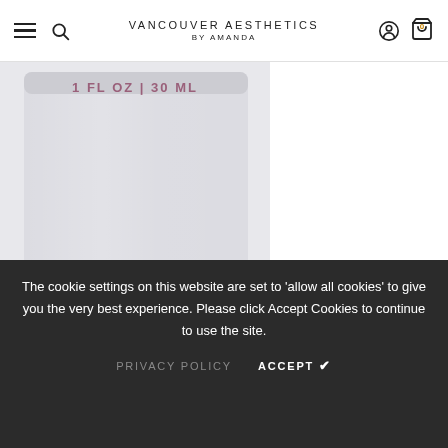VANCOUVER AESTHETICS BY AMANDA
[Figure (photo): Close-up photo of a white cylindrical skincare product container showing '1 FL OZ | 30 ML' text near the top, bottom of container visible]
ADD TO CART
BION
Bion Vitamin C + Calcium Complex
The cookie settings on this website are set to 'allow all cookies' to give you the very best experience. Please click Accept Cookies to continue to use the site.
PRIVACY POLICY   ACCEPT ✔